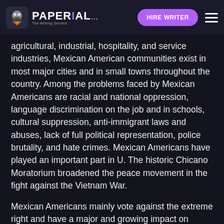PAPERIAL... | HIRE WRITER
agricultural, industrial, hospitality, and service industries, Mexican American communities exist in most major cities and in small towns throughout the country. Among the problems faced by Mexican Americans are racial and national oppression, language discrimination on the job and in schools, cultural suppression, anti-immigrant laws and abuses, lack of full political representation, police brutality, and hate crimes. Mexican Americans have played an important part in U. The historic Chicano Moratorium broadened the peace movement in the fight against the Vietnam War.
Mexican Americans mainly vote against the extreme right and have a major and growing impact on national elections. They have emerged as perhaps the most decisive group of voters in California and the southwestern states. Nationally, there are thousands of Mexican